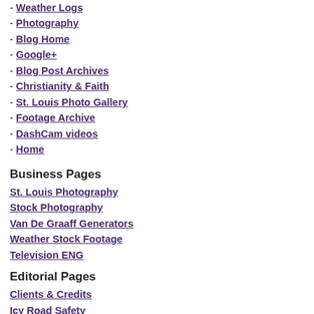- Weather Logs
- Photography
- Blog Home
- Google+
- Blog Post Archives
- Christianity & Faith
- St. Louis Photo Gallery
- Footage Archive
- DashCam videos
- Home
Business Pages
St. Louis Photography
Stock Photography
Van De Graaff Generators
Weather Stock Footage
Television ENG
Editorial Pages
Clients & Credits
Icy Road Safety
Personal Pages